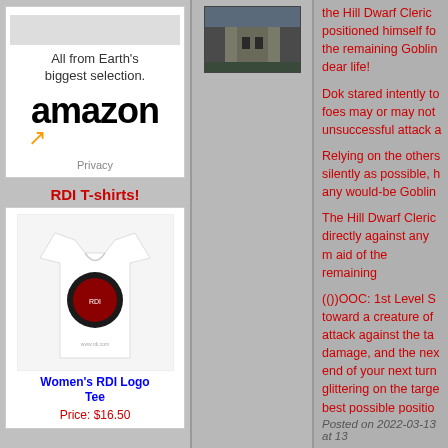[Figure (illustration): Amazon advertisement with 'All from Earth's biggest selection.' text, Amazon wordmark and arrow logo, and Privacy link]
RDI T-shirts!
[Figure (photo): Women's RDI Logo Tee t-shirt product photo on white background]
Women's RDI Logo Tee
Price: $16.50
[Figure (photo): Small photo of a castle or building structure]
the Hill Dwarf Cleric positioned himself fo the remaining Goblin dear life!

Dok stared intently to foes may or may not unsuccessful attack a

Relying on the others silently as possible, h any would-be Goblin

The Hill Dwarf Cleric directly against any m aid of the remaining

(())OOC: 1st Level S toward a creature of attack against the ta damage, and the nex end of your next turn glittering on the targe best possible positio launch the Guiding B may be responding t
Posted on 2022-03-13 at 13